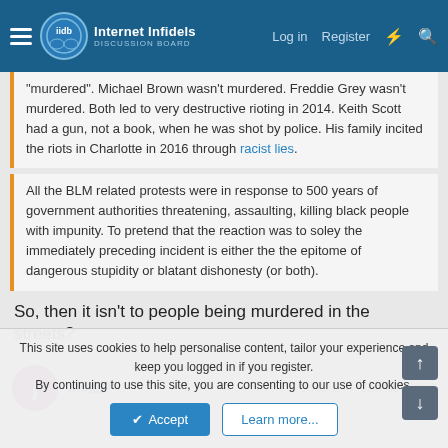Internet Infidels — Log in | Register
"murdered". Michael Brown wasn't murdered. Freddie Grey wasn't murdered. Both led to very destructive rioting in 2014. Keith Scott had a gun, not a book, when he was shot by police. His family incited the riots in Charlotte in 2016 through racist lies.
All the BLM related protests were in response to 500 years of government authorities threatening, assaulting, killing black people with impunity. To pretend that the reaction was to soley the immediately preceding incident is either the the epitome of dangerous stupidity or blatant dishonesty (or both).
So, then it isn't to people being murdered in the streets?
J842P  Joined: Jan 30, 2006
This site uses cookies to help personalise content, tailor your experience and keep you logged in if you register.
By continuing to use this site, you are consenting to our use of cookies.